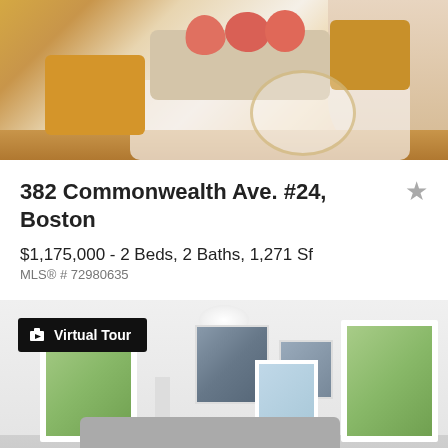[Figure (photo): Interior photo of a stylish living room with beige sofa, coral/salmon throw pillows, mustard yellow tufted armchair, gold-framed glass coffee table, and white shag rug. Hardwood floors and bright windows visible.]
382 Commonwealth Ave. #24, Boston
$1,175,000 - 2 Beds, 2 Baths, 1,271 Sf
MLS® # 72980635
[Figure (photo): Interior photo of a bright white living room with large windows showing greenery outside, artwork on walls, ceiling light fixture, and gray sofa. Virtual Tour badge overlaid in top-left corner.]